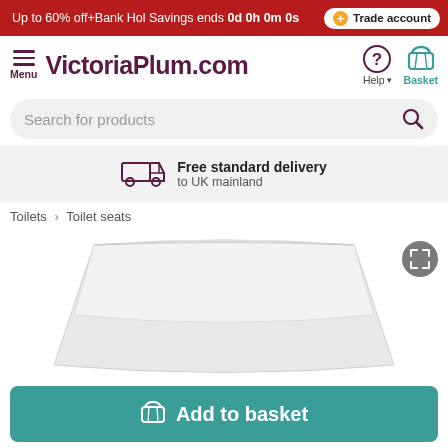Up to 60% off+Bank Hol Savings ends 0d 0h 0m 0s | Trade account
[Figure (screenshot): VictoriaPlum.com navigation bar with menu, logo, help and basket icons]
[Figure (screenshot): Search bar with placeholder text 'Search for products']
Free standard delivery to UK mainland
Toilets > Toilet seats
[Figure (photo): White toilet seat product image on white background]
Add to basket